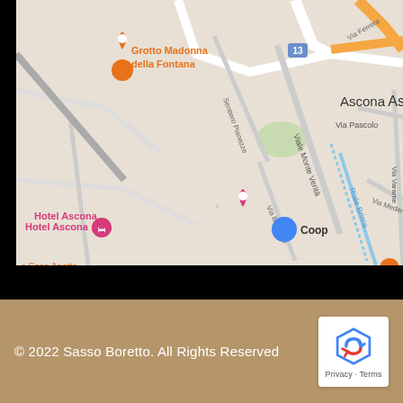[Figure (map): Google Maps view of Ascona, Switzerland area showing local landmarks: Grotto Madonna della Fontana (restaurant pin, orange), Hotel Ascona (pink hotel pin), Casa Anatta, Hotel La Perla (pink hotel pin), Ristorante Ticinella (orange restaurant pin), Coop (blue shopping pin), Museo Comunale Arte Moderna. Streets labeled: Via Ferrera, Sentiero Pianezze, Viale Monte Verità, Via Baraggie, Riale Brima, Via Medere, Via Pascolo, Via Varame. Road 13 shown.]
© 2022 Sasso Boretto. All Rights Reserved